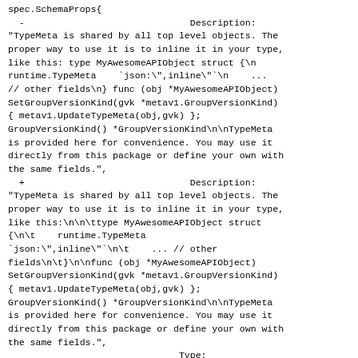spec.SchemaProps{
  -                              Description:
"TypeMeta is shared by all top level objects. The proper way to use it is to inline it in your type, like this: type MyAwesomeAPIObject struct {\n runtime.TypeMeta   `json:\",inline\"`\n    ...
// other fields\n} func (obj *MyAwesomeAPIObject) SetGroupVersionKind(gvk *metav1.GroupVersionKind) { metav1.UpdateTypeMeta(obj,gvk) };
GroupVersionKind() *GroupVersionKind\n\nTypeMeta is provided here for convenience. You may use it directly from this package or define your own with the same fields.",
  +                              Description:
"TypeMeta is shared by all top level objects. The proper way to use it is to inline it in your type, like this:\n\n\ttype MyAwesomeAPIObject struct {\n\t    runtime.TypeMeta
`json:\",inline\"`\n\t    ... // other fields\n\t}\n\nfunc (obj *MyAwesomeAPIObject) SetGroupVersionKind(gvk *metav1.GroupVersionKind) { metav1.UpdateTypeMeta(obj,gvk) };
GroupVersionKind() *GroupVersionKind\n\nTypeMeta is provided here for convenience. You may use it directly from this package or define your own with the same fields.",
                               Type:

[]string{"object"},
                               Properties:

map[string]spec.Schema{